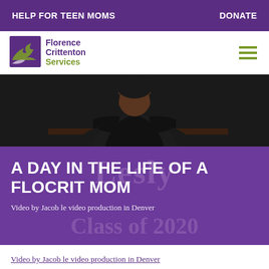HELP FOR TEEN MOMS   DONATE
[Figure (logo): Florence Crittenton Services logo with purple bird/path graphic and olive green text]
[Figure (photo): Teen mom sitting at a desk, wearing a black jacket, arms crossed, with a necklace]
A DAY IN THE LIFE OF A FLOCRIT MOM
Video by Jacob le video production in Denver
Video by Jacob le video production in Denver
Through a unique public-private partnership, Denver Public Schools and Florence Crittenton Services provide the